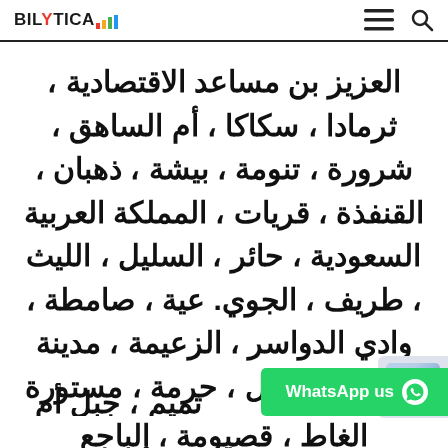BILYTICA (logo with colored bars)
العزيز بن مساعد الاقتصادية ، ثرمادا ، سكاكا ، أم الساهق ، شرورة ، تنومة ، بيشة ، ذهبان ، القنفذة ، قريات ، المملكة العربية السعودية ، حائر ، السليل ، الليث ، طريف ، الجوي. عية ، صامطة ، وادي الدواسر ، الزعيمة ، مدينة صفوة ، جلاجل ، حرمة ، مستورة ... تميم ، جبل أم ... الغاط
[Figure (screenshot): WhatsApp us button overlay in green, with captcha widget]